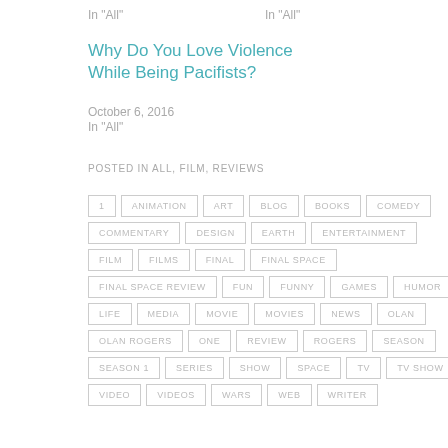In "All"
In "All"
Why Do You Love Violence While Being Pacifists?
October 6, 2016
In "All"
POSTED IN ALL, FILM, REVIEWS
1
ANIMATION
ART
BLOG
BOOKS
COMEDY
COMMENTARY
DESIGN
EARTH
ENTERTAINMENT
FILM
FILMS
FINAL
FINAL SPACE
FINAL SPACE REVIEW
FUN
FUNNY
GAMES
HUMOR
LIFE
MEDIA
MOVIE
MOVIES
NEWS
OLAN
OLAN ROGERS
ONE
REVIEW
ROGERS
SEASON
SEASON 1
SERIES
SHOW
SPACE
TV
TV SHOW
VIDEO
VIDEOS
WARS
WEB
WRITER